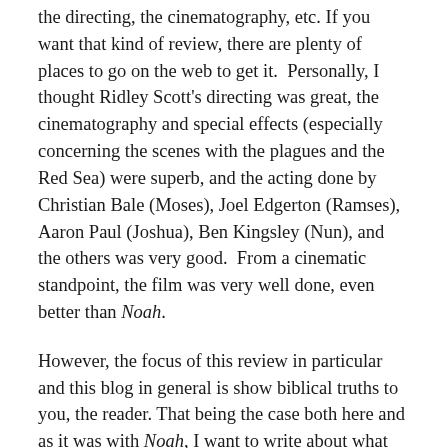the directing, the cinematography, etc. If you want that kind of review, there are plenty of places to go on the web to get it. Personally, I thought Ridley Scott's directing was great, the cinematography and special effects (especially concerning the scenes with the plagues and the Red Sea) were superb, and the acting done by Christian Bale (Moses), Joel Edgerton (Ramses), Aaron Paul (Joshua), Ben Kingsley (Nun), and the others was very good. From a cinematic standpoint, the film was very well done, even better than Noah.
However, the focus of this review in particular and this blog in general is show biblical truths to you, the reader. That being the case both here and as it was with Noah, I want to write about what this film got right and close to right (i.e., portraying events which while not technically described in the Bible could still be within the realm of biblical possibility). I also want to write about what this film got wrong from a biblical standpoint (that is, what it